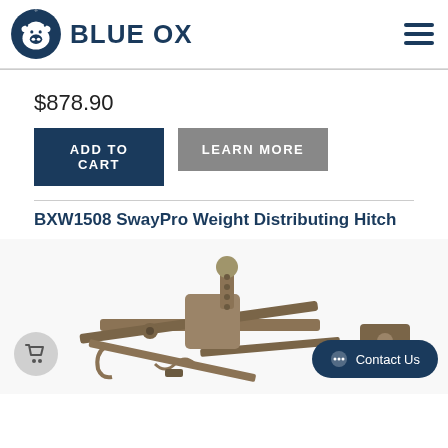[Figure (logo): Blue Ox logo: circular emblem with bull/ox head icon in dark navy blue, with text BLUE OX beside it in bold navy]
$878.90
ADD TO CART
LEARN MORE
BXW1508 SwayPro Weight Distributing Hitch
[Figure (photo): Product photo of the BXW1508 SwayPro Weight Distributing Hitch, a metal towing hitch assembly shown in bronze/tan color with ball mount, spring bars, and connecting hardware]